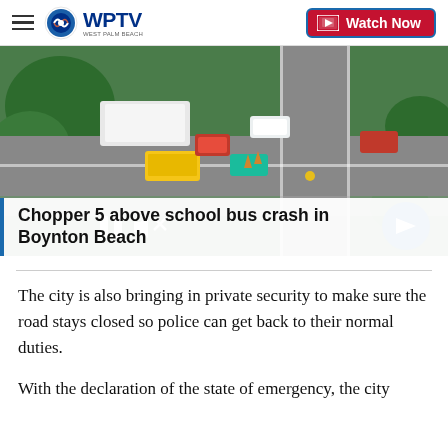WPTV West Palm Beach | Watch Now
[Figure (screenshot): Aerial news footage from Chopper 5 showing a school bus crash scene in Boynton Beach, with multiple vehicles including a yellow school bus, white truck, red car, and blue car on an intersection. Pause and mute controls visible at bottom left, next arrow button at bottom right.]
Chopper 5 above school bus crash in Boynton Beach
The city is also bringing in private security to make sure the road stays closed so police can get back to their normal duties.
With the declaration of the state of emergency, the city